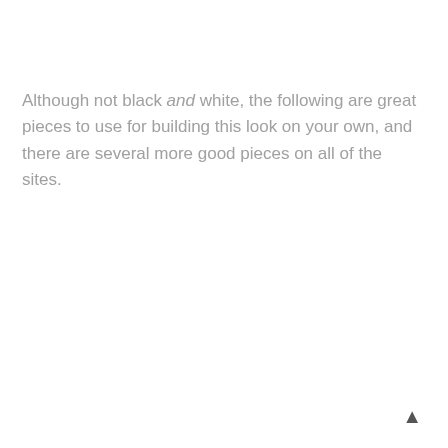Although not black and white, the following are great pieces to use for building this look on your own, and there are several more good pieces on all of the sites.
▲